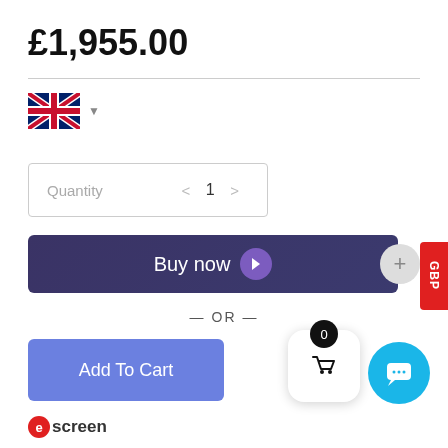£1,955.00
[Figure (screenshot): UK flag (Union Jack) with dropdown arrow, currency selector]
Quantity  <  1  >
GBP (tab on right edge)
Buy now →
— OR —
Add To Cart
[Figure (screenshot): Shopping cart widget with 0 badge]
[Figure (screenshot): Chat widget blue circle with dots icon]
escreen